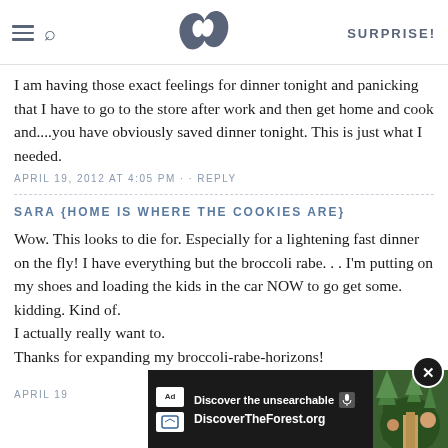SK SURPRISE!
I am having those exact feelings for dinner tonight and panicking that I have to go to the store after work and then get home and cook and....you have obviously saved dinner tonight. This is just what I needed.
APRIL 19, 2012 AT 4:05 PM · · REPLY
SARA {HOME IS WHERE THE COOKIES ARE}
Wow. This looks to die for. Especially for a lightening fast dinner on the fly! I have everything but the broccoli rabe. . . I'm putting on my shoes and loading the kids in the car NOW to go get some.
kidding. Kind of.
I actually really want to.
Thanks for expanding my broccoli-rabe-horizons!
APRIL 19...
[Figure (screenshot): Ad banner for DiscoverTheForest.org showing 'Discover the unsearchable' with forest photo and close button]